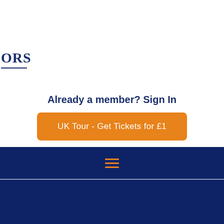[Figure (logo): Partial logo text showing 'ORS' with underline, navy blue color, top-left of page]
Already a member? Sign In
[Figure (other): Orange rounded rectangle button with text 'UK Tour - Get Tickets for £1']
[Figure (other): Dark navy navigation bar with orange hamburger menu icon (three horizontal lines)]